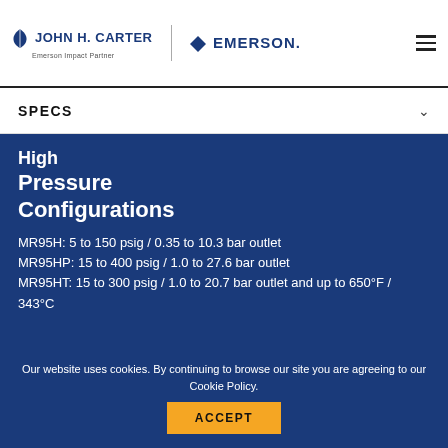JOHN H. CARTER | Emerson Impact Partner | EMERSON.
SPECS
High Pressure Configurations
MR95H: 5 to 150 psig / 0.35 to 10.3 bar outlet
MR95HP: 15 to 400 psig / 1.0 to 27.6 bar outlet
MR95HT: 15 to 300 psig / 1.0 to 20.7 bar outlet and up to 650°F / 343°C
Our website uses cookies. By continuing to browse our site you are agreeing to our Cookie Policy.